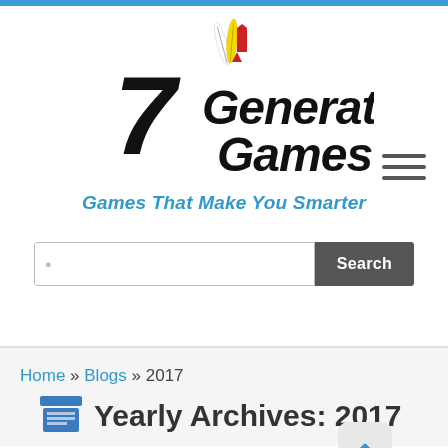[Figure (logo): 7 Generation Games logo with stylized '7' and feathers/rocket, black text on white background]
Games That Make You Smarter
[Figure (other): Hamburger menu icon (three horizontal lines)]
[Figure (other): Search bar with text input and Search button]
Home » Blogs » 2017
Yearly Archives: 2017